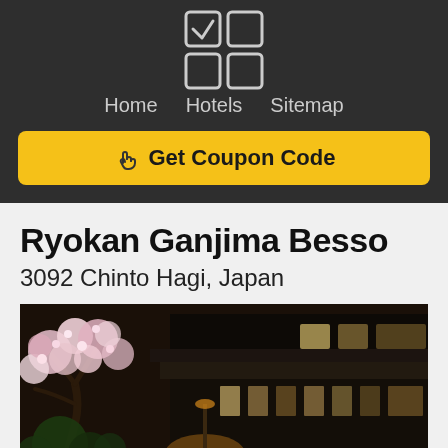[Figure (logo): 2x2 icon grid with checkmark and squares]
Home   Hotels   Sitemap
Get Coupon Code
Ryokan Ganjima Besso
3092 Chinto Hagi, Japan
[Figure (photo): Exterior photo of Ryokan Ganjima Besso — traditional Japanese inn with dark wooden architecture, cherry blossom trees in foreground, warm interior lighting visible through windows]